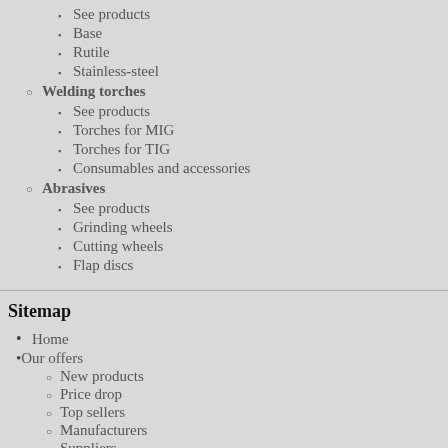See products
Base
Rutile
Stainless-steel
Welding torches
See products
Torches for MIG
Torches for TIG
Consumables and accessories
Abrasives
See products
Grinding wheels
Cutting wheels
Flap discs
Sitemap
Home
Our offers
New products
Price drop
Top sellers
Manufacturers
Suppliers